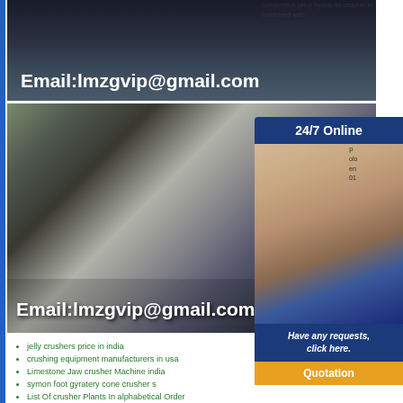[Figure (photo): Top partial image of industrial machinery with email address overlay: Email:lmzgvip@gmail.com]
competitive price hydraulic crusher is combined with
[Figure (photo): Large image of mobile crushing plant/machinery with Email:lmzgvip@gmail.com overlay]
[Figure (infographic): 24/7 Online customer support sidebar with headset-wearing consultant photo, 'Have any requests, click here.' text, and Quotation button]
jelly crushers price in india
crushing equipment manufacturers in usa
Limestone Jaw crusher Machine india
symon foot gyratery cone crusher s
List Of crusher Plants In alphabetical Order
300t h Jaw crushing Station From Portugal
ripple creek iron ore deposi
2019 china Large Productivity stone jaw crusher Machines
conveyor belt shop in johor bahru
Quartz Stone crusher Manufacturer
limestone grinding ball mill in pakistan
400 Tons Per Hour Jaw crusher Equipment Quote
High Efficiency Agitation Tank Mi ing Tank